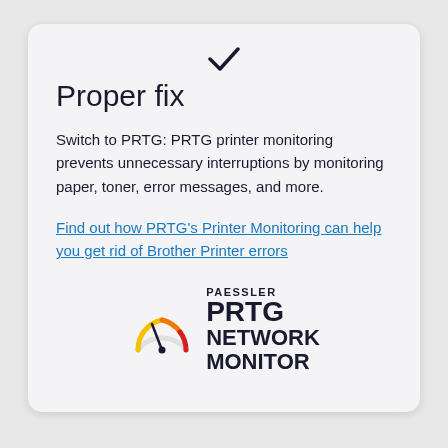Proper fix
Switch to PRTG: PRTG printer monitoring prevents unnecessary interruptions by monitoring paper, toner, error messages, and more.
Find out how PRTG's Printer Monitoring can help you get rid of Brother Printer errors
[Figure (logo): Paessler PRTG Network Monitor logo with gauge icon]